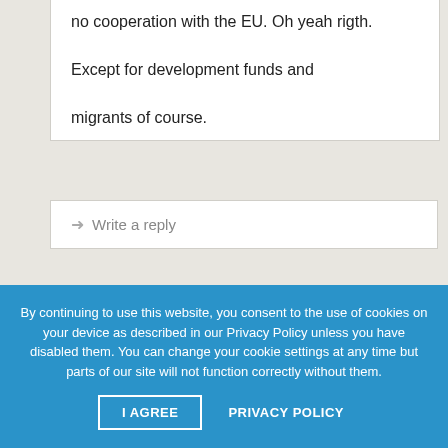no cooperation with the EU. Oh yeah rigth. Except for development funds and migrants of course.
➜ Write a reply
George • September 21st, 2021 •
EU should come home!Obviously EU involvement is useless.
By continuing to use this website, you consent to the use of cookies on your device as described in our Privacy Policy unless you have disabled them. You can change your cookie settings at any time but parts of our site will not function correctly without them.
I AGREE   PRIVACY POLICY